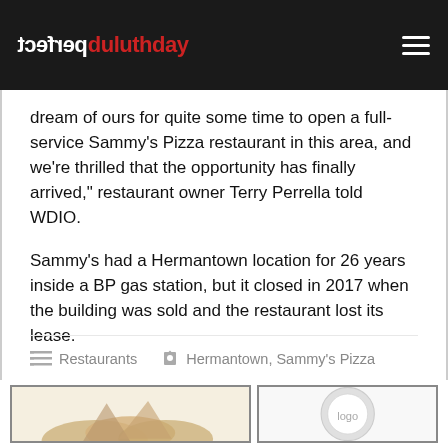perfect duluthday
dream of ours for quite some time to open a full-service Sammy's Pizza restaurant in this area, and we're thrilled that the opportunity has finally arrived," restaurant owner Terry Perrella told WDIO.
Sammy's had a Hermantown location for 26 years inside a BP gas station, but it closed in 2017 when the building was sold and the restaurant lost its lease.
Restaurants   Hermantown, Sammy's Pizza
[Figure (photo): Two thumbnail images at the bottom of the page showing food/pizza items]
[Figure (photo): Second thumbnail image at the bottom right]